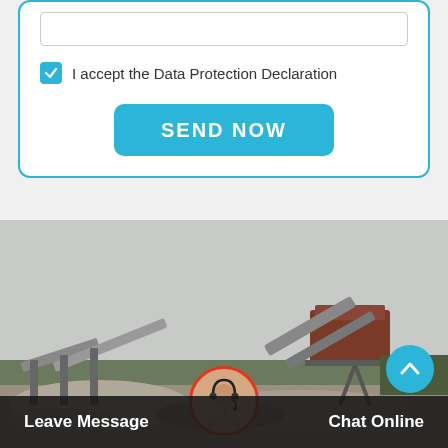[Figure (screenshot): Web form card with a text input field, a checked checkbox labeled 'I accept the Data Protection Declaration', and a cyan 'SEND NOW' button, all within a rounded rectangle bordered in cyan/teal.]
I accept the Data Protection Declaration
SEND NOW
[Figure (photo): Industrial mining/crushing plant site with large conveyor belts and crushing machinery on a hillside. Gray overcast sky background with trees in the distance.]
Leave Message
Chat Online